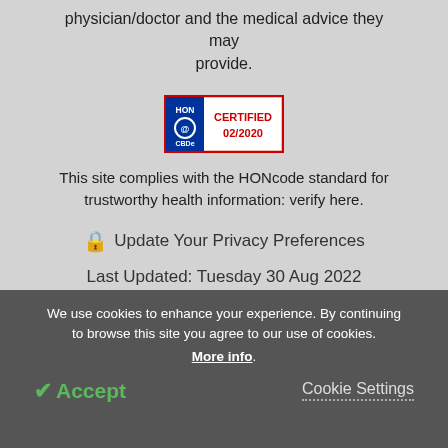physician/doctor and the medical advice they may provide.
[Figure (logo): HONcode CERTIFIED 02/2020 badge — red border box with HON logo and CERTIFIED 02/2020 text]
This site complies with the HONcode standard for trustworthy health information: verify here.
🔒 Update Your Privacy Preferences
Last Updated: Tuesday 30 Aug 2022
[Figure (logo): AZO NETWORK logo — AZO in red/blue bold text, NETWORK in dark blue below]
We use cookies to enhance your experience. By continuing to browse this site you agree to our use of cookies. More info.
✓ Accept
Cookie Settings